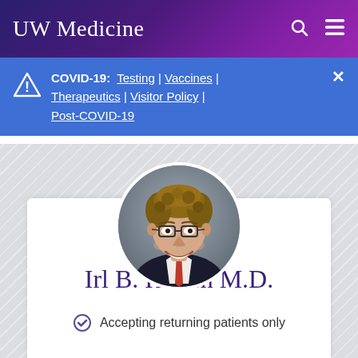UW Medicine
COVID-19: Testing | Vaccines | Therapeutics | Visitor Policy | Post-COVID-19
[Figure (photo): Circular headshot photo of Dr. Irl B. Hirsch, a middle-aged man with curly hair and glasses, wearing a suit and tie, smiling]
Irl B. Hirsch M.D.
Accepting returning patients only